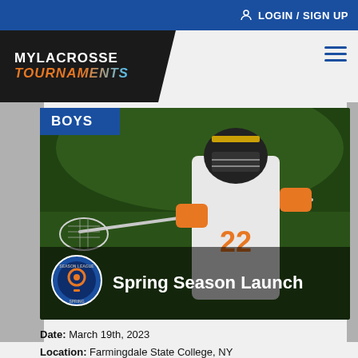LOGIN / SIGN UP
[Figure (logo): MyLacrosse Tournaments logo — white bold text 'MYLACROSSE' and italic gradient orange-blue 'TOURNAMENTS' on black background]
[Figure (photo): Lacrosse player in white jersey with orange gloves holding a lacrosse stick, wearing a helmet, outdoors on a green field]
Spring Season Launch
Date: March 19th, 2023
Location: Farmingdale State College, NY
Divisions: 2027-2032